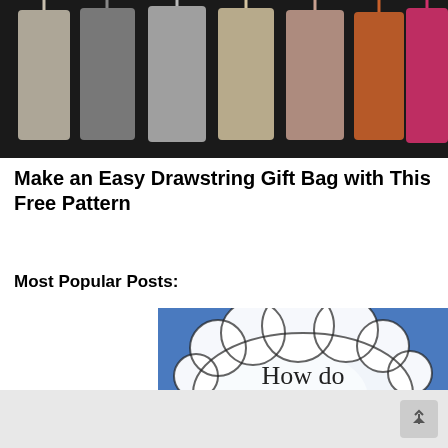[Figure (photo): Photo of multiple drawstring fabric bags in various colors (grey, beige, orange, pink, plaid) hanging against a dark background]
Make an Easy Drawstring Gift Bag with This Free Pattern
Most Popular Posts:
[Figure (photo): Photo of a person holding a water bottle with a speech bubble overlay that reads 'How do I reuse...?']